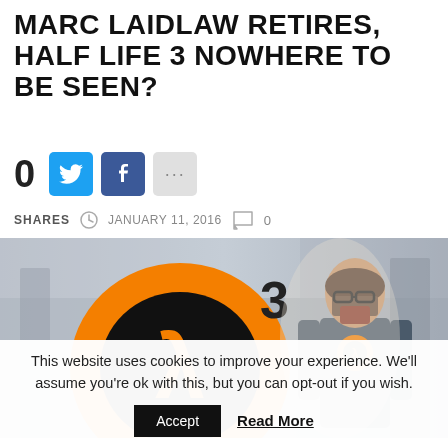MARC LAIDLAW RETIRES, HALF LIFE 3 NOWHERE TO BE SEEN?
0 SHARES   JANUARY 11, 2016   0
[Figure (photo): Half-Life 3 logo with orange lambda symbol and a '3', alongside Gordon Freeman character art on a blurred grey background]
This website uses cookies to improve your experience. We'll assume you're ok with this, but you can opt-out if you wish.
Accept   Read More